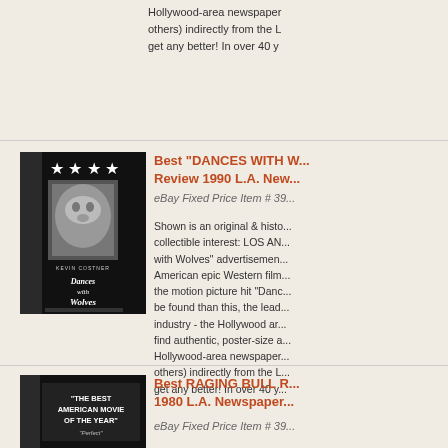Hollywood-area newspaper others) indirectly from the L get any better! In over 40 y
[Figure (photo): Open newspaper/magazine showing Dances with Wolves movie advertisement with Kevin Costner, four stars rating, and the film title in stylized text]
Best "DANCES WITH WOLVES" Review 1990 L.A. New...
eBay Fixed Price Item # 39...
Shown is an original & historic collectible interest: LOS AN... with Wolves" advertisement... American epic Western film... the motion picture hit "Danc... be found than this, the lead... industry - the Hollywood ar... find authentic, poster-size a... Hollywood-area newspaper... others) indirectly from the L... get any better! In over 40 y...
[Figure (photo): Open newspaper/magazine showing Raging Bull review with text "THE BEST AMERICAN MOVIE OF THE YEAR" and subtitle "Perfect"]
Best RAGING BULL R... 1980 L.A. Newspaper...
eBay Fixed Price Item # 39...